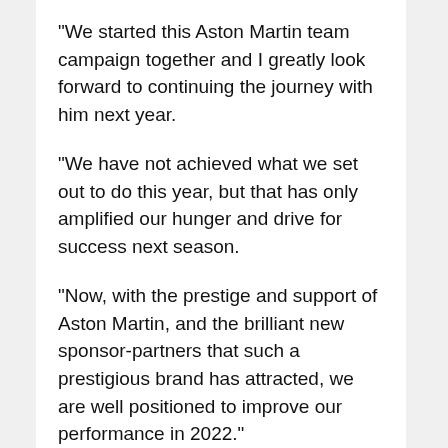“We started this Aston Martin team campaign together and I greatly look forward to continuing the journey with him next year.
“We have not achieved what we set out to do this year, but that has only amplified our hunger and drive for success next season.
“Now, with the prestige and support of Aston Martin, and the brilliant new sponsor-partners that such a prestigious brand has attracted, we are well positioned to improve our performance in 2022.”
Gallery: The beautiful wives and girlfriends of F1 drivers
Keep up to date with all the F1 news via Facebook